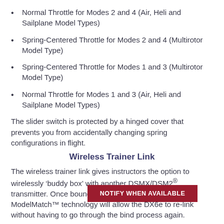Normal Throttle for Modes 2 and 4 (Air, Heli and Sailplane Model Types)
Spring-Centered Throttle for Modes 2 and 4 (Multirotor Model Type)
Spring-Centered Throttle for Modes 1 and 3 (Multirotor Model Type)
Normal Throttle for Modes 1 and 3 (Air, Heli and Sailplane Model Types)
The slider switch is protected by a hinged cover that prevents you from accidentally changing spring configurations in flight.
Wireless Trainer Link
The wireless trainer link gives instructors the option to wirelessly ‘buddy box’ with another DSMX/DSM2® transmitter. Once bound to another transmitter, ModelMatch™ technology will allow the DX6e to re-link without having to go through the bind process again.
Includes Full Range AR620 DSMX Receiver
The Spekt… full-range, 6-channel sport